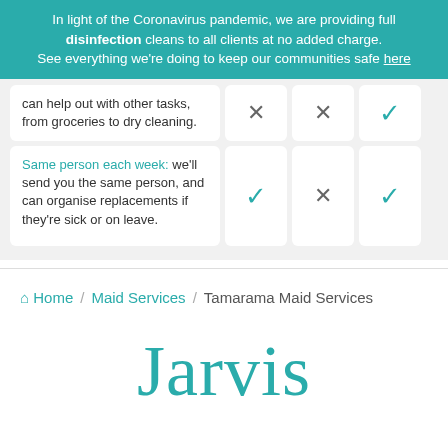In light of the Coronavirus pandemic, we are providing full disinfection cleans to all clients at no added charge. See everything we're doing to keep our communities safe here
| Feature | Option 1 | Option 2 | Option 3 |
| --- | --- | --- | --- |
| Our maids can help out with other tasks, from groceries to dry cleaning. | ✗ | ✗ | ✓ |
| Same person each week: we'll send you the same person, and can organise replacements if they're sick or on leave. | ✓ | ✗ | ✓ |
Home / Maid Services / Tamarama Maid Services
Jarvis